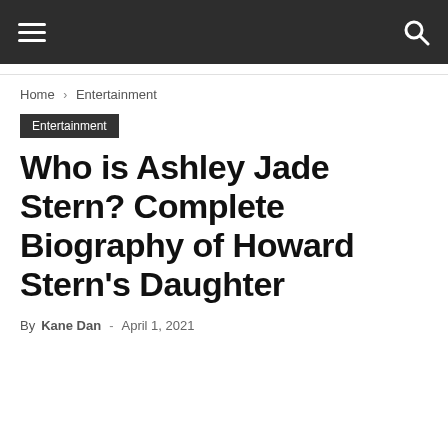Navigation bar with hamburger menu and search icon
Home › Entertainment
Entertainment
Who is Ashley Jade Stern? Complete Biography of Howard Stern's Daughter
By Kane Dan - April 1, 2021